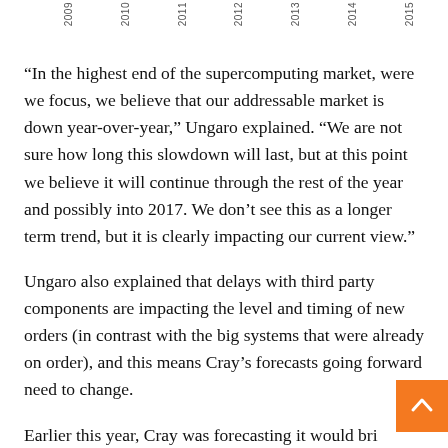2009 2010 2011 2012 2013 2014 2015
“In the highest end of the supercomputing market, were we focus, we believe that our addressable market is down year-over-year,” Ungaro explained. “We are not sure how long this slowdown will last, but at this point we believe it will continue through the rest of the year and possibly into 2017. We don’t see this as a longer term trend, but it is clearly impacting our current view.”
Ungaro also explained that delays with third party components are impacting the level and timing of new orders (in contrast with the big systems that were already on order), and this means Cray’s forecasts going forward need to change.
Earlier this year, Cray was forecasting it would bring around $825 million in revenues in 2016, with about 60